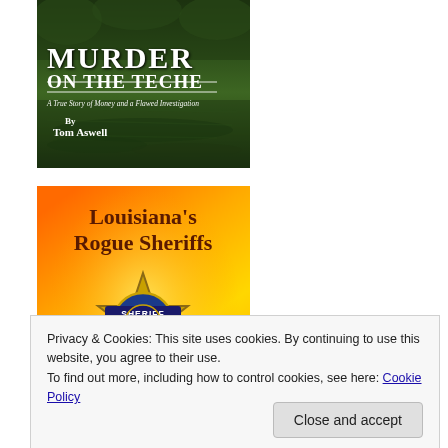[Figure (illustration): Book cover of 'Murder on the Teche' by Tom Aswell. Dark green bayou/swamp background with reflections on water. White bold title text 'MURDER ON THE TECHE', subtitle 'A True Story of Money and a Flawed Investigation', author 'By Tom Aswell'.]
[Figure (illustration): Book cover of 'Louisiana's Rogue Sheriffs' by Tom Aswell. Bright orange-to-yellow gradient background with a gold sheriff badge in center showing 'SHERIFF' and 'STATE OF'. Title in dark brown bold text.]
Privacy & Cookies: This site uses cookies. By continuing to use this website, you agree to their use.
To find out more, including how to control cookies, see here: Cookie Policy
Close and accept